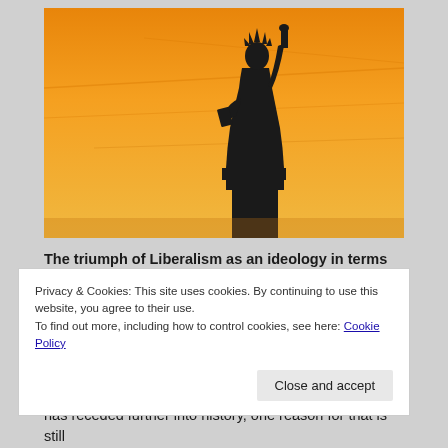[Figure (photo): Silhouette of the Statue of Liberty against an orange sunset sky with streaks of light]
The triumph of Liberalism as an ideology in terms of
Privacy & Cookies: This site uses cookies. By continuing to use this website, you agree to their use. To find out more, including how to control cookies, see here: Cookie Policy
Close and accept
has receded further into history, one reason for that is still